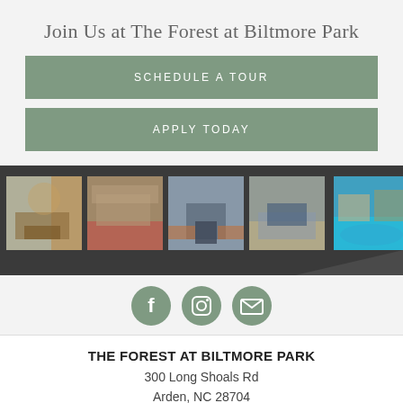Join Us at The Forest at Biltmore Park
SCHEDULE A TOUR
APPLY TODAY
[Figure (photo): Gallery strip with 5 interior and exterior apartment photos shown on a dark background]
[Figure (infographic): Three social media icon circles: Facebook, Instagram, Email on gray background]
THE FOREST AT BILTMORE PARK
300 Long Shoals Rd
Arden, NC 28704
SCHEDULE A TOUR